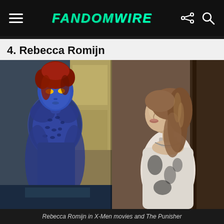FandomWire
4. Rebecca Romijn
[Figure (photo): Two side-by-side photos of Rebecca Romijn: left photo shows her as Mystique with blue body paint and yellow eyes from X-Men movies; right photo shows her as a human actress in a patterned dress from The Punisher]
Rebecca Romijn in X-Men movies and The Punisher